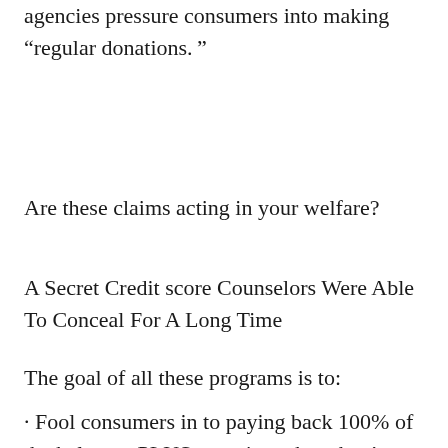agencies pressure consumers into making “regular donations.”
Are these claims acting in your welfare?
A Secret Credit score Counselors Were Able To Conceal For A Long Time
The goal of all these programs is to:
· Fool consumers in to paying back 100% of the balances PLUS attention when they’re within deep financial trouble, instead of filing personal